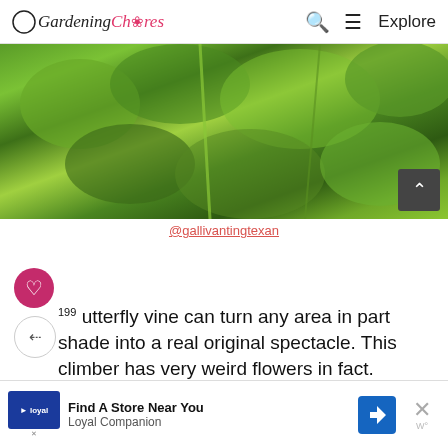Gardening Chores — Explore
[Figure (photo): Close-up photo of green butterfly vine/plant leaves with various shades of green foliage]
@gallivantingtexan
199 butterfly vine can turn any area in part shade into a real original spectacle. This climber has very weird flowers in fact. ...canary yellow and the petals are thin at the base then form round
WHAT'S NEXT → 14 stunning Rose of...
Find A Store Near You Loyal Companion